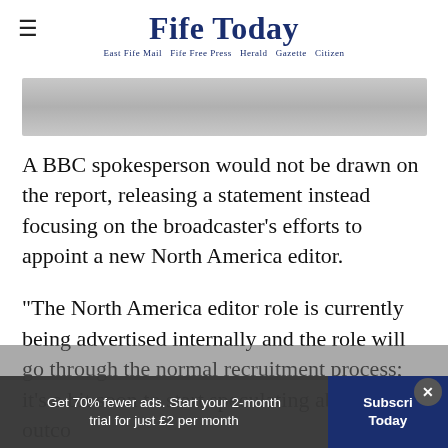Fife Today — East Fife Mail  Fife Free Press  Herald  Gazette  Citizen
[Figure (photo): Gray banner image placeholder at top of article]
A BBC spokesperson would not be drawn on the report, releasing a statement instead focusing on the broadcaster’s efforts to appoint a new North America editor.
“The North America editor role is currently being advertised internally and the role will go through the normal recruitment process; it’s a bit soon to start speculating about the outco…
Get 70% fewer ads. Start your 2-month trial for just £2 per month  |  Subscribe Today